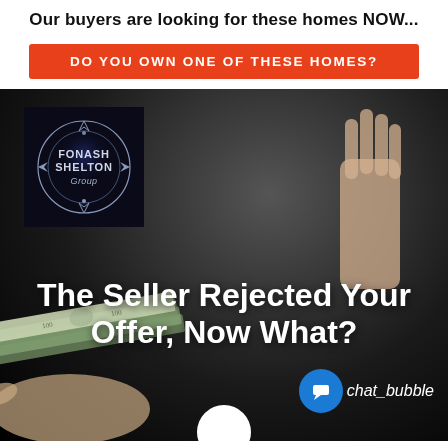Our buyers are looking for these homes NOW...
DO YOU OWN ONE OF THESE HOMES?
[Figure (logo): Fonash Shelton Group logo — circular compass-like emblem on dark background with text FONASH SHELTON Group]
[Figure (photo): Dark background photo showing a hand offering cash (dollar bills) being rejected by another hand raised in stop gesture]
The Seller Rejected Your Offer, Now What?
[Figure (illustration): Chat bubble icon with text 'chat_bubble' in white italic on blue circle]